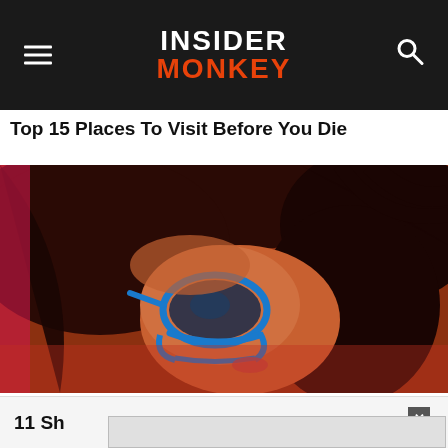INSIDER MONKEY
Top 15 Places To Visit Before You Die
[Figure (photo): Close-up photo of a woman lying on a beach, wearing blue sunglasses, with dark reddish-brown hair spread around her. She is wearing a pink/red top.]
11 Sh
[Figure (screenshot): Advertisement overlay modal box, partially obscuring content below. Has a close (x) button in the top right corner.]